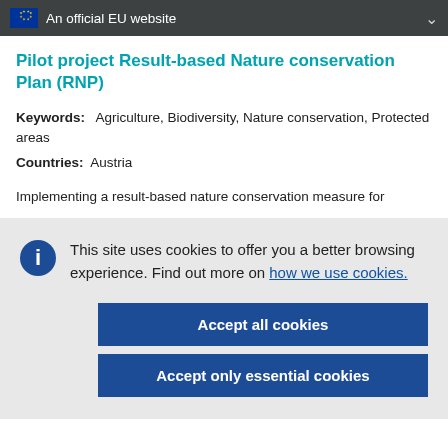An official EU website
Pilot project Result-based Nature conservation Plan (RNP)
Keywords: Agriculture, Biodiversity, Nature conservation, Protected areas
Countries: Austria
Implementing a result-based nature conservation measure for
This site uses cookies to offer you a better browsing experience. Find out more on how we use cookies.
Accept all cookies
Accept only essential cookies